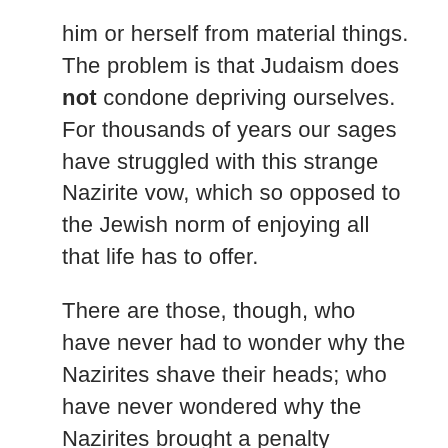him or herself from material things. The problem is that Judaism does not condone depriving ourselves. For thousands of years our sages have struggled with this strange Nazirite vow, which so opposed to the Jewish norm of enjoying all that life has to offer.
There are those, though, who have never had to wonder why the Nazirites shave their heads; who have never wondered why the Nazirites brought a penalty offering before the Tent of Meeting; who never wondered who the Nazirites were. They never wonder because they are Nazirites.